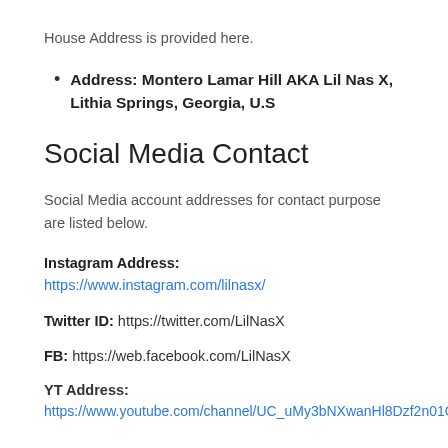House Address is provided here.
Address: Montero Lamar Hill AKA Lil Nas X, Lithia Springs, Georgia, U.S
Social Media Contact
Social Media account addresses for contact purpose are listed below.
Instagram Address: https://www.instagram.com/lilnasx/
Twitter ID: https://twitter.com/LilNasX
FB: https://web.facebook.com/LilNasX
YT Address: https://www.youtube.com/channel/UC_uMy3bNXwanHl8Dzf2n01Q